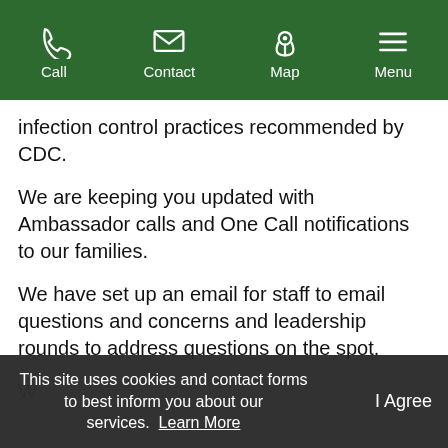Call  Contact  Map  Menu
infection control practices recommended by CDC.
We are keeping you updated with Ambassador calls and One Call notifications to our families.
We have set up an email for staff to email questions and concerns and leadership rounds to address questions on the spot.
W...
This site uses cookies and contact forms to best inform you about our services.  Learn More    I Agree